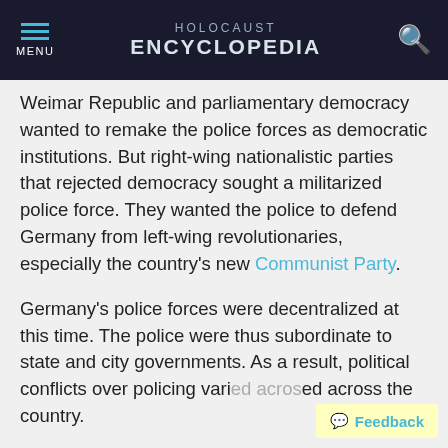HOLOCAUST ENCYCLOPEDIA
Weimar Republic and parliamentary democracy wanted to remake the police forces as democratic institutions. But right-wing nationalistic parties that rejected democracy sought a militarized police force. They wanted the police to defend Germany from left-wing revolutionaries, especially the country's new Communist Party.
Germany's police forces were decentralized at this time. The police were thus subordinate to state and city governments. As a result, political conflicts over policing varied across the country.